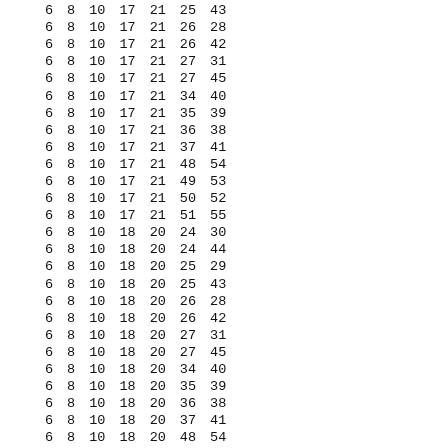| 6 | 8 | 10 | 17 | 21 | 25 | 43 |
| 6 | 8 | 10 | 17 | 21 | 26 | 28 |
| 6 | 8 | 10 | 17 | 21 | 26 | 42 |
| 6 | 8 | 10 | 17 | 21 | 27 | 31 |
| 6 | 8 | 10 | 17 | 21 | 27 | 45 |
| 6 | 8 | 10 | 17 | 21 | 34 | 40 |
| 6 | 8 | 10 | 17 | 21 | 35 | 39 |
| 6 | 8 | 10 | 17 | 21 | 36 | 38 |
| 6 | 8 | 10 | 17 | 21 | 37 | 41 |
| 6 | 8 | 10 | 17 | 21 | 48 | 54 |
| 6 | 8 | 10 | 17 | 21 | 49 | 53 |
| 6 | 8 | 10 | 17 | 21 | 50 | 52 |
| 6 | 8 | 10 | 17 | 21 | 51 | 55 |
| 6 | 8 | 10 | 18 | 20 | 24 | 30 |
| 6 | 8 | 10 | 18 | 20 | 24 | 44 |
| 6 | 8 | 10 | 18 | 20 | 25 | 29 |
| 6 | 8 | 10 | 18 | 20 | 25 | 43 |
| 6 | 8 | 10 | 18 | 20 | 26 | 28 |
| 6 | 8 | 10 | 18 | 20 | 26 | 42 |
| 6 | 8 | 10 | 18 | 20 | 27 | 31 |
| 6 | 8 | 10 | 18 | 20 | 27 | 45 |
| 6 | 8 | 10 | 18 | 20 | 34 | 40 |
| 6 | 8 | 10 | 18 | 20 | 35 | 39 |
| 6 | 8 | 10 | 18 | 20 | 36 | 38 |
| 6 | 8 | 10 | 18 | 20 | 37 | 41 |
| 6 | 8 | 10 | 18 | 20 | 48 | 54 |
| 6 | 8 | 10 | 18 | 20 | 49 | 53 |
| 6 | 8 | 10 | 18 | 20 | 50 | 52 |
| 6 | 8 | 10 | 18 | 20 | 51 | 55 |
| 6 | 8 | 10 | 19 | 33 | 34 | 40 |